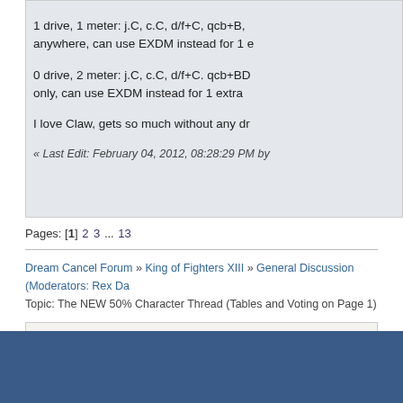1 drive, 1 meter: j.C, c.C, d/f+C, qcb+B, anywhere, can use EXDM instead for 1 extra
0 drive, 2 meter: j.C, c.C, d/f+C. qcb+BD only, can use EXDM instead for 1 extra
I love Claw, gets so much without any dr
« Last Edit: February 04, 2012, 08:28:29 PM by
Pages: [1] 2 3 ... 13
Dream Cancel Forum » King of Fighters XIII » General Discussion (Moderators: Rex Da Topic: The NEW 50% Character Thread (Tables and Voting on Page 1)